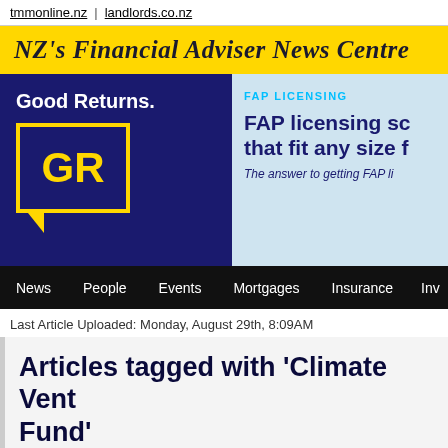tmmonline.nz  |  landlords.co.nz
NZ's Financial Adviser News Centre
[Figure (screenshot): Good Returns GR logo and FAP Licensing advertisement banner on dark blue background]
News  People  Events  Mortgages  Insurance  Inv
Last Article Uploaded: Monday, August 29th, 8:09AM
Articles tagged with 'Climate Vent... Fund'